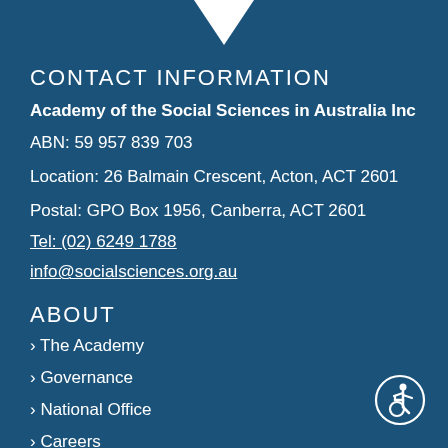[Figure (logo): White downward chevron/arrow logo at top center]
CONTACT INFORMATION
Academy of the Social Sciences in Australia Inc
ABN: 59 957 839 703
Location: 26 Balmain Crescent, Acton, ACT 2601
Postal: GPO Box 1956, Canberra, ACT 2601
Tel: (02) 6249 1788
info@socialsciences.org.au
ABOUT
› The Academy
› Governance
› National Office
› Careers
[Figure (illustration): Wheelchair accessibility icon in white circle outline, bottom right corner]